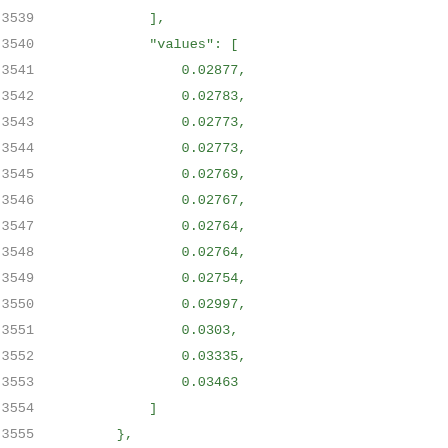3539    ],
3540    "values": [
3541        0.02877,
3542        0.02783,
3543        0.02773,
3544        0.02773,
3545        0.02769,
3546        0.02767,
3547        0.02764,
3548        0.02764,
3549        0.02754,
3550        0.02997,
3551        0.0303,
3552        0.03335,
3553        0.03463
3554    ]
3555    },
3556    "rise_power,hidden_pwr_template13": {
3557        "index_1": [
3558            0.01,
3559            0.01735,